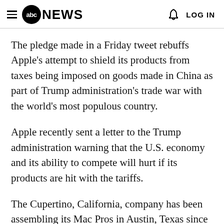abc NEWS  LOG IN
The pledge made in a Friday tweet rebuffs Apple's attempt to shield its products from taxes being imposed on goods made in China as part of Trump administration's trade war with the world's most populous country.
Apple recently sent a letter to the Trump administration warning that the U.S. economy and its ability to compete will hurt if its products are hit with the tariffs.
The Cupertino, California, company has been assembling its Mac Pros in Austin, Texas since 2013, but a report surfaced last month that